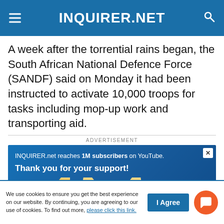INQUIRER.NET
A week after the torrential rains began, the South African National Defence Force (SANDF) said on Monday it had been instructed to activate 10,000 troops for tasks including mop-up work and transporting aid.
[Figure (screenshot): Advertisement banner for INQUIRER.net YouTube milestone: 'INQUIRER.net reaches 1M subscribers on YouTube. Thank you for your support!' with large gold '1M' text on blue background.]
We use cookies to ensure you get the best experience on our website. By continuing, you are agreeing to our use of cookies. To find out more, please click this link.